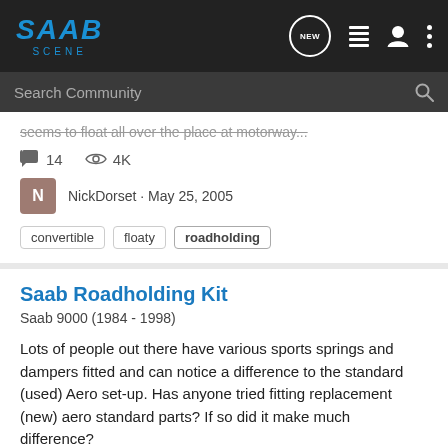SAAB SCENE
seems to float all over the place at motorway...
14 comments · 4K views
NickDorset · May 25, 2005
convertible
floaty
roadholding
Saab Roadholding Kit
Saab 9000 (1984 - 1998)
Lots of people out there have various sports springs and dampers fitted and can notice a difference to the standard (used) Aero set-up. Has anyone tried fitting replacement (new) aero standard parts? If so did it make much difference?
5 comments · 3K views